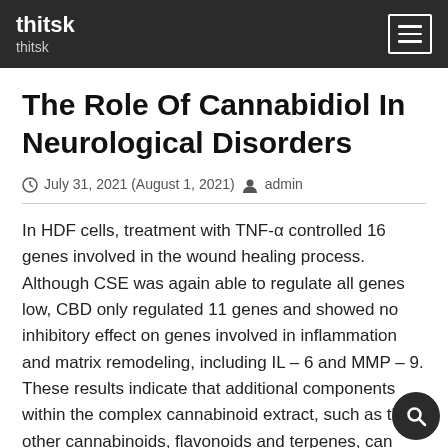thitsk
thitsk
The Role Of Cannabidiol In Neurological Disorders
July 31, 2021 (August 1, 2021)  admin
In HDF cells, treatment with TNF-α controlled 16 genes involved in the wound healing process. Although CSE was again able to regulate all genes low, CBD only regulated 11 genes and showed no inhibitory effect on genes involved in inflammation and matrix remodeling, including IL – 6 and MMP – 9. These results indicate that additional components within the complex cannabinoid extract, such as the other cannabinoids, flavonoids and terpenes, can exert a synergistic anti-inflammatory effect greater than that of CBD alone. Stronger preclinical and clinical studies are needed to draw a conclusion about the CBD wound-healing skin